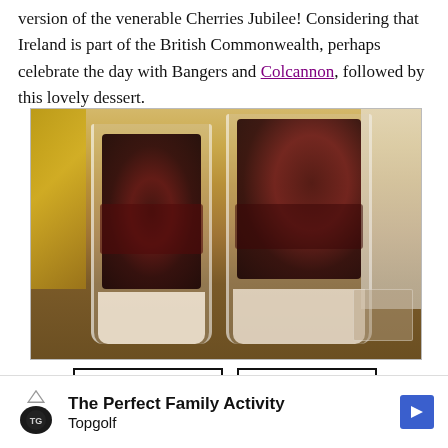version of the venerable Cherries Jubilee! Considering that Ireland is part of the British Commonwealth, perhaps celebrate the day with Bangers and Colcannon, followed by this lovely dessert.
[Figure (photo): Two tall glass cups filled with dark cherries (jubilee) layered over cream/ice cream on a wooden table surface, with decorative items in the background]
Print Recipe | Pin Recipe
The Perfect Family Activity Topgolf